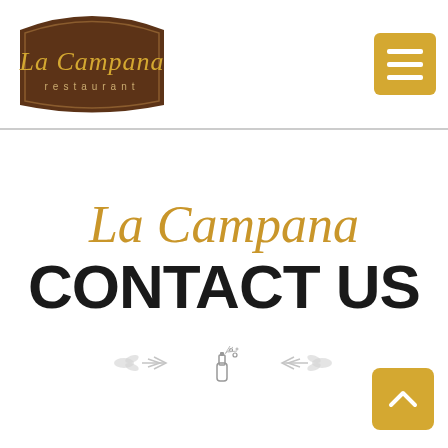La Campana restaurant — navigation header with logo and hamburger menu
La Campana CONTACT US
[Figure (illustration): Decorative ornamental divider with arrows, wheat/laurel motifs and a small coffee/champagne bottle icon in center]
[Figure (other): Back-to-top button (gold square with upward chevron arrow)]